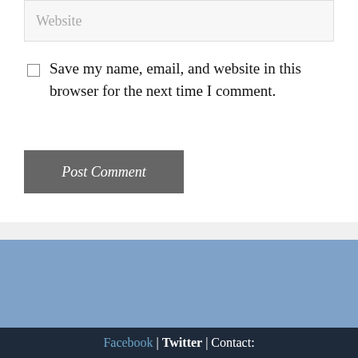Website
Save my name, email, and website in this browser for the next time I comment.
Post Comment
[Figure (screenshot): Search box with text input and search button with magnifying glass icon]
Facebook | Twitter | Contact: